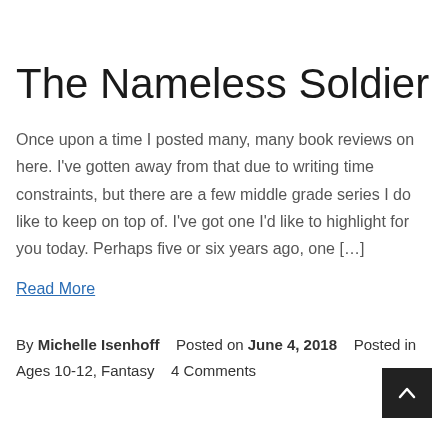The Nameless Soldier
Once upon a time I posted many, many book reviews on here. I've gotten away from that due to writing time constraints, but there are a few middle grade series I do like to keep on top of. I've got one I'd like to highlight for you today. Perhaps five or six years ago, one […]
Read More
By Michelle Isenhoff   Posted on June 4, 2018   Posted in Ages 10-12, Fantasy   4 Comments